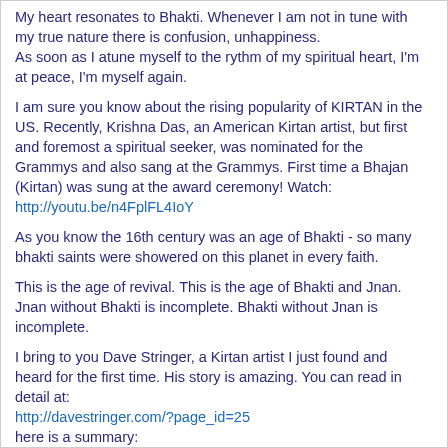My heart resonates to Bhakti. Whenever I am not in tune with my true nature there is confusion, unhappiness. As soon as I atune myself to the rythm of my spiritual heart, I'm at peace, I'm myself again.
I am sure you know about the rising popularity of KIRTAN in the US. Recently, Krishna Das, an American Kirtan artist, but first and foremost a spiritual seeker, was nominated for the Grammys and also sang at the Grammys. First time a Bhajan (Kirtan) was sung at the award ceremony! Watch: http://youtu.be/n4FplFL4IoY
As you know the 16th century was an age of Bhakti - so many bhakti saints were showered on this planet in every faith.
This is the age of revival. This is the age of Bhakti and Jnan. Jnan without Bhakti is incomplete. Bhakti without Jnan is incomplete.
I bring to you Dave Stringer, a Kirtan artist I just found and heard for the first time. His story is amazing. You can read in detail at: http://davestringer.com/?page_id=25 here is a summary: Dave Stringer was working in Hollywood and a film editing project took him to an ashram in India. He had to edit knowledge videos of a Guru which was the divine's plan to make it a means by which he would learn about Yoga etc. The chanting and kirtans at the ashram had a profound